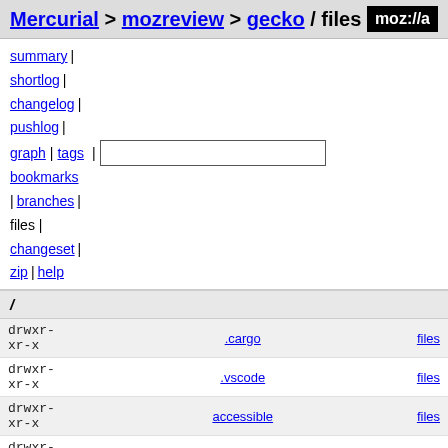Mercurial > mozreview > gecko / files moz://a
summary | shortlog | changelog | pushlog | graph | tags | bookmarks | branches | files | changeset | zip | help
/
| permissions | name | files |
| --- | --- | --- |
| drwxr-xr-x | .cargo | files |
| drwxr-xr-x | .vscode | files |
| drwxr-xr-x | accessible | files |
| drwxr-xr-x | addon-sdk | files |
| drwxr-xr-x | b2g | files |
| drwxr-xr-x | browser | files |